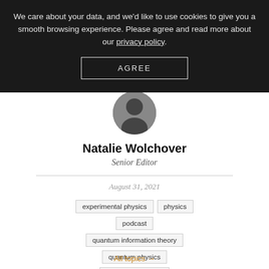We care about your data, and we'd like to use cookies to give you a smooth browsing experience. Please agree and read more about our privacy policy.
AGREE
[Figure (photo): Circular profile photo of Natalie Wolchover, partially visible under the cookie banner overlay]
Natalie Wolchover
Senior Editor
August 31, 2021
experimental physics
physics
podcast
quantum information theory
quantum physics
theoretical physics
thermodynamics
time
All topics →